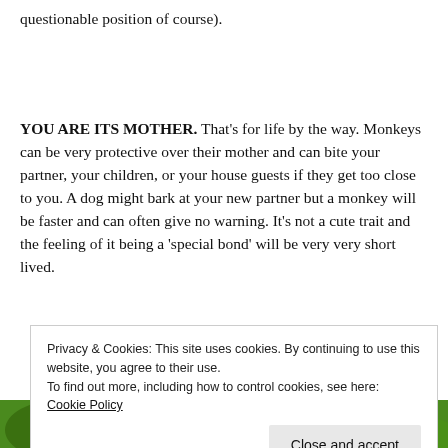questionable position of course).
YOU ARE ITS MOTHER. That’s for life by the way. Monkeys can be very protective over their mother and can bite your partner, your children, or your house guests if they get too close to you. A dog might bark at your new partner but a monkey will be faster and can often give no warning. It’s not a cute trait and the feeling of it being a ‘special bond’ will be very very short lived.
Privacy & Cookies: This site uses cookies. By continuing to use this website, you agree to their use.
To find out more, including how to control cookies, see here: Cookie Policy

Close and accept
[Figure (illustration): Bottom strip showing colorful jungle/monkey illustration with green foliage background and monkey eyes visible]